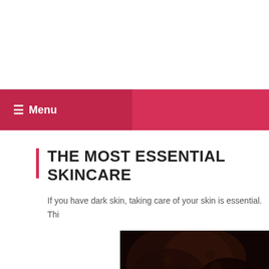☰ Menu
THE MOST ESSENTIAL SKINCARE
If you have dark skin, taking care of your skin is essential. Thi
[Figure (photo): Dark-skinned person with curly hair, close-up photo]